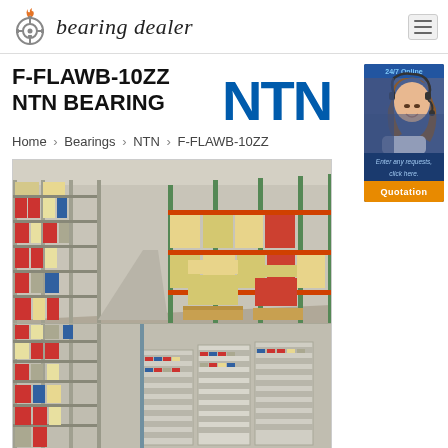bearing dealer
F-FLAWB-10ZZ NTN BEARING
Home › Bearings › NTN › F-FLAWB-10ZZ
[Figure (photo): Warehouse interior showing industrial shelving racks stocked with bearing boxes and other parts, two views combined showing tall shelving rows and smaller cabinet-style shelving units.]
[Figure (photo): 24/7 Online customer service banner with a woman wearing a headset. Text reads: Enter any requests, click here. Quotation button in orange.]